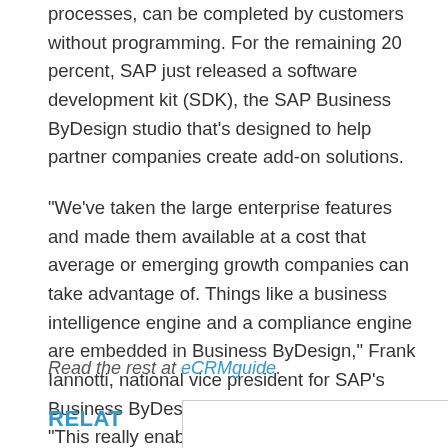processes, can be completed by customers without programming. For the remaining 20 percent, SAP just released a software development kit (SDK), the SAP Business ByDesign studio that's designed to help partner companies create add-on solutions.
“We’ve taken the large enterprise features and made them available at a cost that average or emerging growth companies can take advantage of. Things like a business intelligence engine and a compliance engine are embedded in Business ByDesign,” Frank Iannotti, national vice president for SAP’s Business ByDesign, told InternetNews.com. “This really enables what would be very costly in earlier solutions.”
Read the rest at eCRMguide.
RELAT